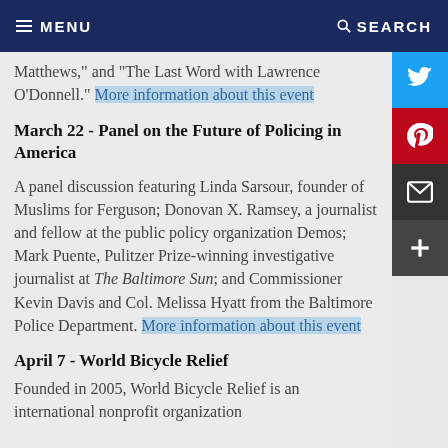MENU   SEARCH
Matthews," and "The Last Word with Lawrence O'Donnell." More information about this event
March 22 - Panel on the Future of Policing in America
A panel discussion featuring Linda Sarsour, founder of Muslims for Ferguson; Donovan X. Ramsey, a journalist and fellow at the public policy organization Demos; Mark Puente, Pulitzer Prize-winning investigative journalist at The Baltimore Sun; and Commissioner Kevin Davis and Col. Melissa Hyatt from the Baltimore Police Department. More information about this event
April 7 - World Bicycle Relief
Founded in 2005, World Bicycle Relief is an international nonprofit organization